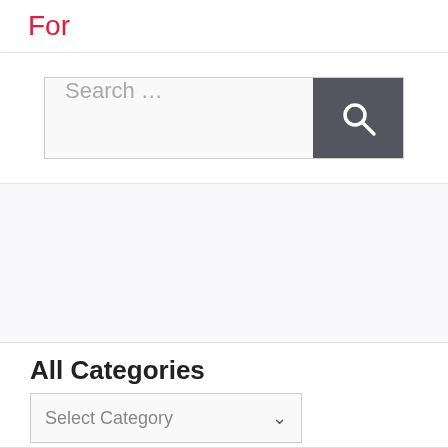For
[Figure (screenshot): Search input field with placeholder text 'Search ...' and a dark gray search button with magnifying glass icon]
All Categories
[Figure (screenshot): Dropdown select element with placeholder 'Select Category' and a chevron/arrow indicator]